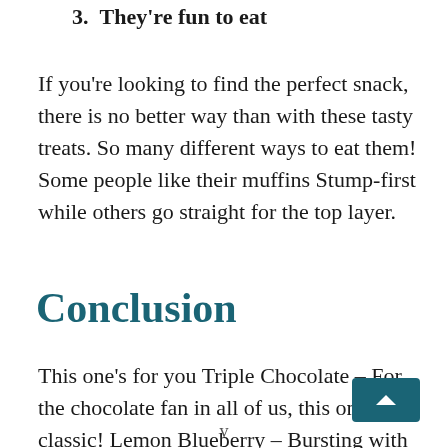3. They're fun to eat
If you're looking to find the perfect snack, there is no better way than with these tasty treats. So many different ways to eat them! Some people like their muffins Stump-first while others go straight for the top layer.
Conclusion
This one's for you Triple Chocolate – For the chocolate fan in all of us, this one is a classic! Lemon Blueberry – Bursting with flavor, perfect as an afternoon treat To celebrate